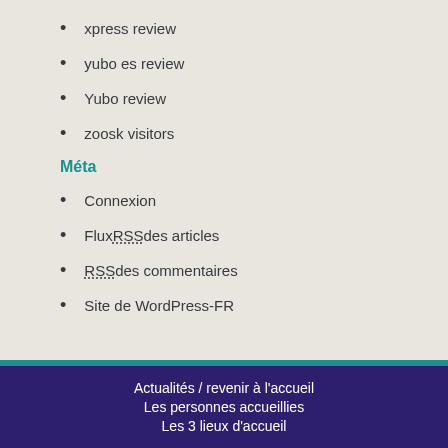xpress review
yubo es review
Yubo review
zoosk visitors
Méta
Connexion
Flux RSS des articles
RSS des commentaires
Site de WordPress-FR
Actualités / revenir à l'accueil
Les personnes accueillies
Les 3 lieux d'accueil